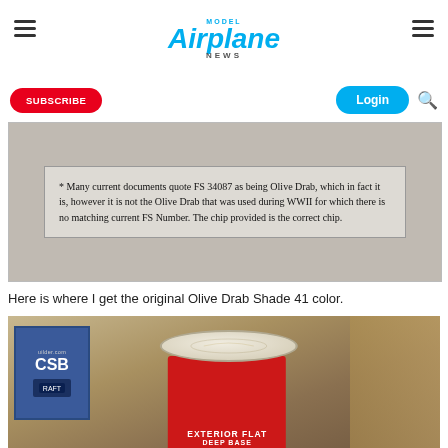Model Airplane News
[Figure (photo): Close-up of a printed document showing a footnote about FS 34087 and Olive Drab color standard]
Here is where I get the original Olive Drab Shade 41 color.
[Figure (photo): Photo of a red paint can labeled EXTERIOR FLAT DEEP BASE next to a blue CSB builder.com sign, in what appears to be a workshop setting]